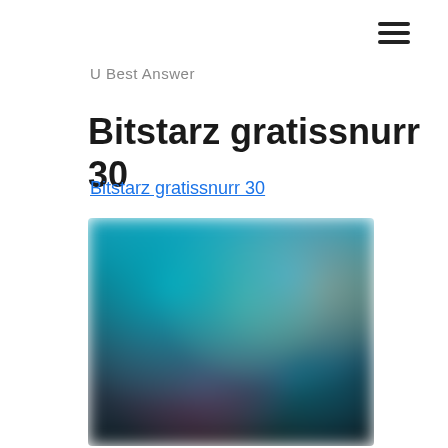☰
U Best Answer
Bitstarz gratissnurr 30
Bitstarz gratissnurr 30
[Figure (photo): Blurred screenshot of a gaming/casino website showing colorful game thumbnails with characters on a dark background]